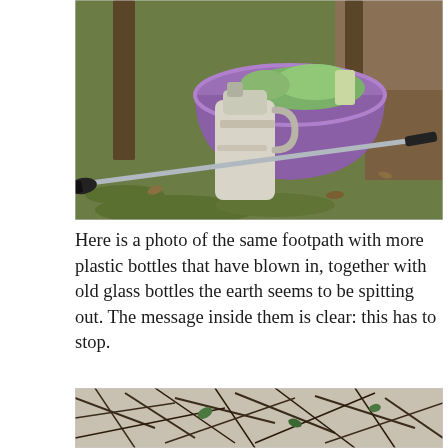[Figure (photo): Photo of a purple plastic tub/basin filled with collected litter including plastic bags and bottles, with a muddy white plastic jug leaning against it and a litter-picker tool lying on grass in front, set against tree trunks and bare earth.]
Here is a photo of the same footpath with more plastic bottles that have blown in, together with old glass bottles the earth seems to be spitting out. The message inside them is clear: this has to stop.
[Figure (photo): Photo of tangled bare winter twigs and branches with a few green leaves visible, covering stony ground — depicting overgrown undergrowth on a footpath.]